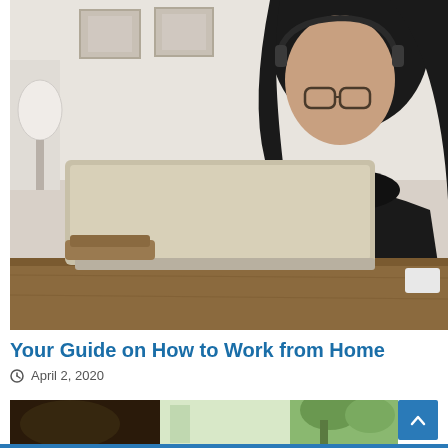[Figure (photo): A young woman with glasses and headphones working on a laptop at a wooden desk. She is wearing a black turtleneck. Background shows a lamp and framed pictures on the wall.]
Your Guide on How to Work from Home
April 2, 2020
[Figure (photo): Partial view of a second article photo showing a blurred interior scene with a person and greenery.]